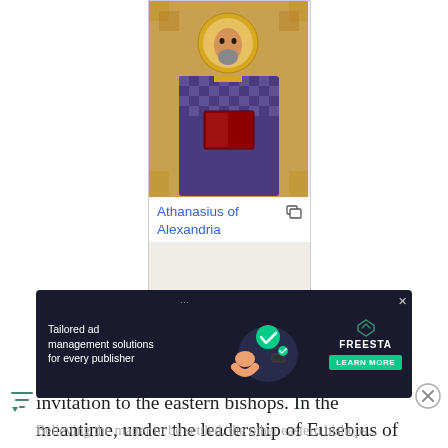[Figure (illustration): Mosaic-style illustration of Athanasius of Alexandria, depicted in Byzantine style with ornate geometric patterned robes holding a book.]
Athanasius of Alexandria
Julius convened the synod at Rome, having dispatched two envoys to bear a letter of invitation to the eastern bishops. In the meantime, under the leadership of Eusebius of Nicomedia, the patriarch of Constantinople, a council had been held at Antioch which had elected George of Cappadocia as patriarch of Alexandria in the place of both Pistus and Athanasius. George was duly installed at Alexandria over the violent objections of the supporters of Athanasius, who was now once again forced into ex...
[Figure (screenshot): Advertisement banner: 'Tailored ad management solutions for every publisher' with FREESTA logo and LEARN MORE button, dark background with graphic illustration.]
Believing the matter to be settled, the other eastern bishops...